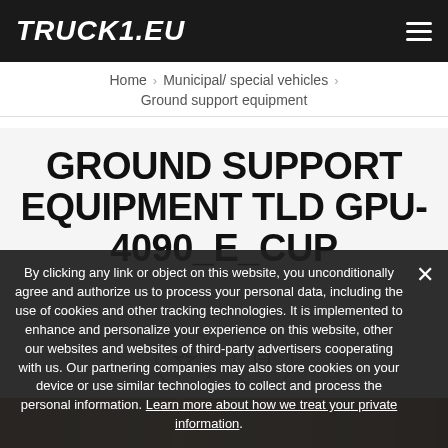TRUCK1.EU
Home › Municipal/ special vehicles › Ground support equipment
GROUND SUPPORT EQUIPMENT TLD GPU-4090_E_CUP
[Figure (screenshot): Two circular icon buttons: a star (bookmark/favorite) icon and a document/PDF icon, on a light gray background]
[Figure (photo): Partial view of a ground support equipment vehicle, brown/tan color strip]
By clicking any link or object on this website, you unconditionally agree and authorize us to process your personal data, including the use of cookies and other tracking technologies. It is implemented to enhance and personalize your experience on this website, other our websites and websites of third-party advertisers cooperating with us. Our partnering companies may also store cookies on your device or use similar technologies to collect and process the personal information. Learn more about how we treat your private information.